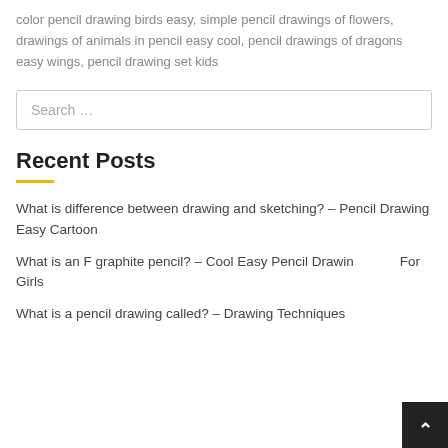color pencil drawing birds easy, simple pencil drawings of flowers, drawings of animals in pencil easy cool, pencil drawings of dragons easy wings, pencil drawing set kids
Search …
Recent Posts
What is difference between drawing and sketching? – Pencil Drawing Easy Cartoon
What is an F graphite pencil? – Cool Easy Pencil Drawing For Girls
What is a pencil drawing called? – Drawing Techniques